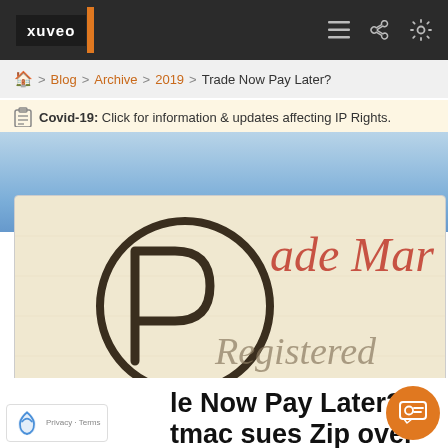xuveo
🏠 > Blog > Archive > 2019 > Trade Now Pay Later?
Covid-19: Click for information & updates affecting IP Rights.
[Figure (photo): Trademark registration document showing the registered trademark symbol (R in a circle) and the words 'Trade Mark' and 'Registered' on a beige paper background]
Trade Now Pay Later? Afterpay/Laybuy/Pairtmac sues Zip over trade mark dispute